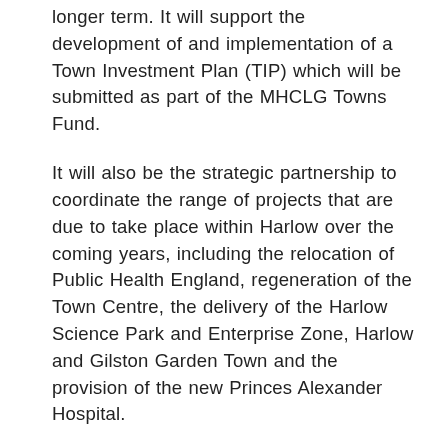longer term. It will support the development of and implementation of a Town Investment Plan (TIP) which will be submitted as part of the MHCLG Towns Fund.
It will also be the strategic partnership to coordinate the range of projects that are due to take place within Harlow over the coming years, including the relocation of Public Health England, regeneration of the Town Centre, the delivery of the Harlow Science Park and Enterprise Zone, Harlow and Gilston Garden Town and the provision of the new Princes Alexander Hospital.
The functions of the Board are to:
a)  Act as a forum to work collectively to